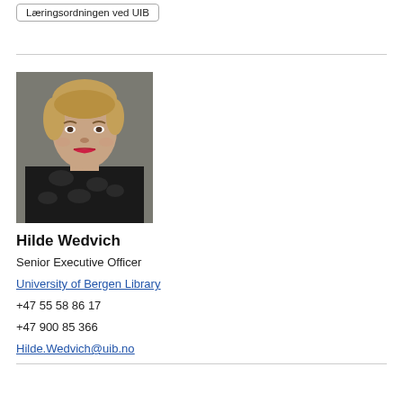Læringsordningen ved UIB
[Figure (photo): Portrait photo of Hilde Wedvich, a woman with short blonde hair wearing a dark patterned top]
Hilde Wedvich
Senior Executive Officer
University of Bergen Library
+47 55 58 86 17
+47 900 85 366
Hilde.Wedvich@uib.no